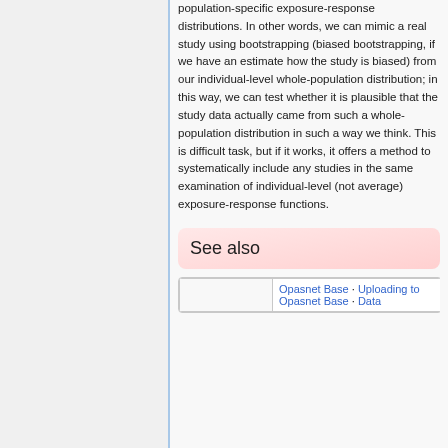population-specific exposure-response distributions. In other words, we can mimic a real study using bootstrapping (biased bootstrapping, if we have an estimate how the study is biased) from our individual-level whole-population distribution; in this way, we can test whether it is plausible that the study data actually came from such a whole-population distribution in such a way we think. This is difficult task, but if it works, it offers a method to systematically include any studies in the same examination of individual-level (not average) exposure-response functions.
See also
|  | Opasnet Base · Uploading to Opasnet Base · Data |